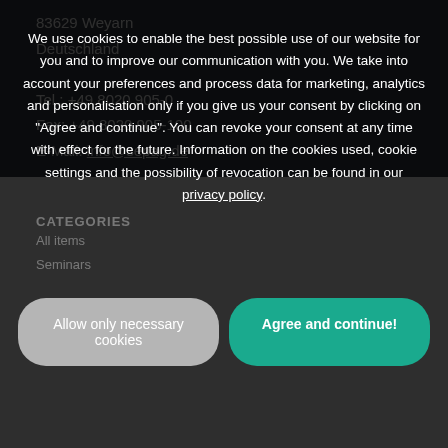83629 Weyarn
Deutschland

Tel.: +49 8020 905-0
Fax: +49 8020 905-100
E-Mail: info@sepag.de
We use cookies to enable the best possible use of our website for you and to improve our communication with you. We take into account your preferences and process data for marketing, analytics and personalisation only if you give us your consent by clicking on "Agree and continue". You can revoke your consent at any time with effect for the future. Information on the cookies used, cookie settings and the possibility of revocation can be found in our privacy policy.
CATEGORIES
All items
Seminars
Allow only necessary cookies
Agree and continue!